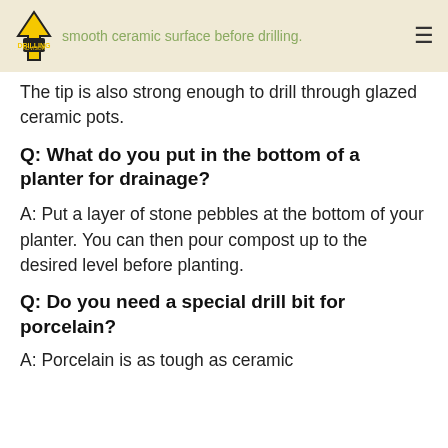smooth ceramic surface before drilling. Drilling Advisor logo
The tip is also strong enough to drill through glazed ceramic pots.
Q: What do you put in the bottom of a planter for drainage?
A: Put a layer of stone pebbles at the bottom of your planter. You can then pour compost up to the desired level before planting.
Q: Do you need a special drill bit for porcelain?
A: Porcelain is as tough as ceramic...